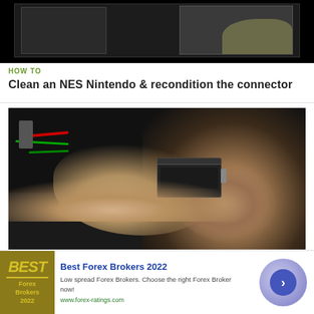[Figure (screenshot): Top portion of a video thumbnail showing an NES Nintendo console being worked on, dark background with electronic components visible]
HOW TO
Clean an NES Nintendo & recondition the connector
[Figure (screenshot): Video still of hands holding an NES Nintendo connector component with wires and circuit board visible in background, dark setting]
[Figure (infographic): Advertisement banner: Best Forex Brokers 2022 - Low spread Forex Brokers. Choose the right Forex Broker now! www.forex-ratings.com, with golden logo and circular arrow button]